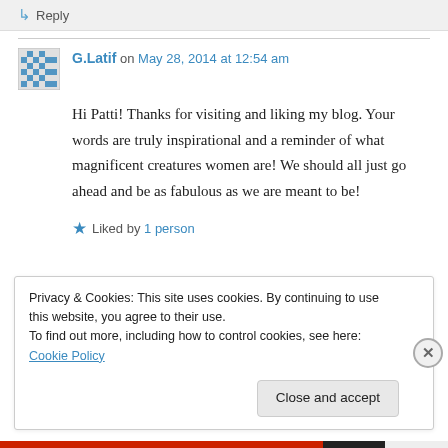↳ Reply
G.Latif on May 28, 2014 at 12:54 am
Hi Patti! Thanks for visiting and liking my blog. Your words are truly inspirational and a reminder of what magnificent creatures women are! We should all just go ahead and be as fabulous as we are meant to be!
★ Liked by 1 person
Privacy & Cookies: This site uses cookies. By continuing to use this website, you agree to their use.
To find out more, including how to control cookies, see here: Cookie Policy
Close and accept